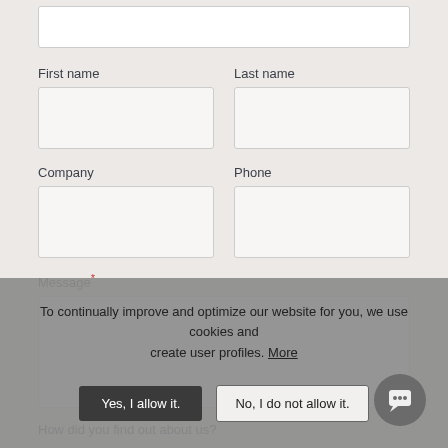First name
Last name
Company
Phone
Message*
How did you find out about us?
To continually improve and optimize our website for you, we use cookies and create user profiles. More
Yes, I allow it.
No, I do not allow it.